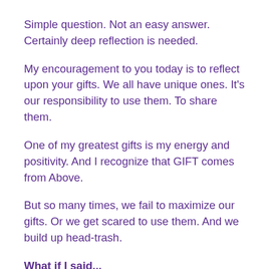Simple question. Not an easy answer. Certainly deep reflection is needed.
My encouragement to you today is to reflect upon your gifts. We all have unique ones. It's our responsibility to use them. To share them.
One of my greatest gifts is my energy and positivity. And I recognize that GIFT comes from Above.
But so many times, we fail to maximize our gifts. Or we get scared to use them. And we build up head-trash.
What if I said... "I'm scared to have too much high